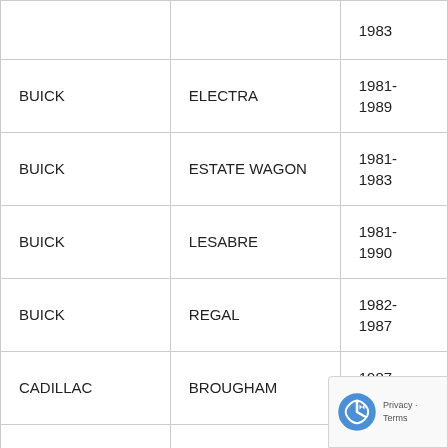| Make | Model | Year |
| --- | --- | --- |
|  |  | 1983 |
| BUICK | ELECTRA | 1981-1989 |
| BUICK | ESTATE WAGON | 1981-1983 |
| BUICK | LESABRE | 1981-1990 |
| BUICK | REGAL | 1982-1987 |
| CADILLAC | BROUGHAM | 1987-1990 |
| CADILLAC | DEVILLE | 1981-1984 |
| CADILLAC | FLEETWOOD | 1981-1986 |